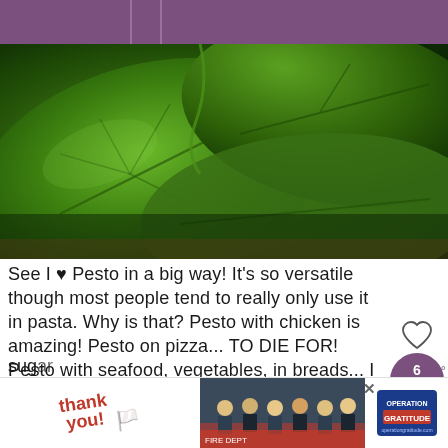[Figure (photo): Close-up photograph of large fresh green spinach or basil leaves on a wooden surface]
See I ♥ Pesto in a big way! It's so versatile though most people tend to really only use it in pasta. Why is that? Pesto with chicken is amazing! Pesto on pizza... TO DIE FOR! Pesto with seafood, vegetables, in breads... I could go on and on! W... when I got home and unloaded to 500 things I... bought I went straight to making pesto – I swea... Fantabulous, dear, I only went there for brown...
[Figure (infographic): Social sharing UI overlay: heart icon (outline), purple share bubble with number 6 and share icon, purple WH/UP/Fr label bubble]
[Figure (photo): Advertisement banner: 'Thank You' handwritten text with American flag graphic on left; photo of firefighters group center; Operation Gratitude logo on right]